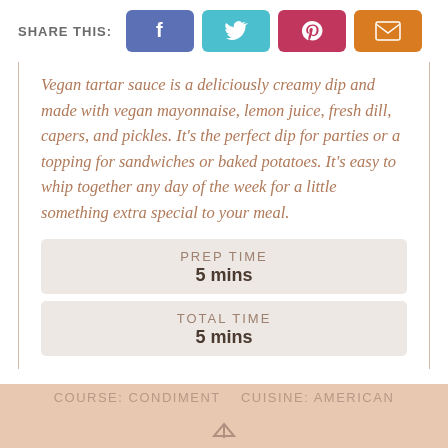SHARE THIS:
Vegan tartar sauce is a deliciously creamy dip and made with vegan mayonnaise, lemon juice, fresh dill, capers, and pickles. It's the perfect dip for parties or a topping for sandwiches or baked potatoes. It's easy to whip together any day of the week for a little something extra special to your meal.
PREP TIME
5 mins
TOTAL TIME
5 mins
COURSE: Condiment   CUISINE: American